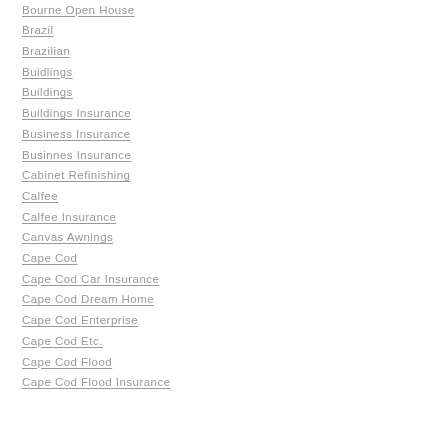Bourne Open House
Brazil
Brazilian
Buidlings
Buildings
Buildings Insurance
Business Insurance
Businnes Insurance
Cabinet Refinishing
Calfee
Calfee Insurance
Canvas Awnings
Cape Cod
Cape Cod Car Insurance
Cape Cod Dream Home
Cape Cod Enterprise
Cape Cod Etc.
Cape Cod Flood
Cape Cod Flood Insurance